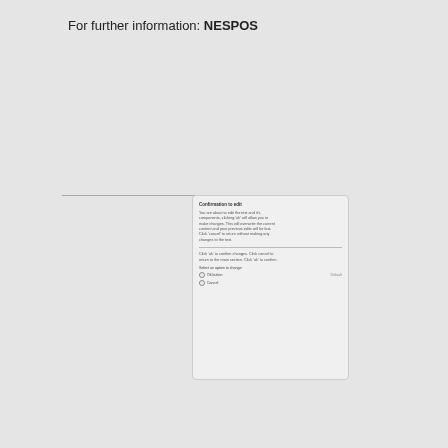For further information: NESPOS
[Figure (screenshot): Screenshot of a dialog box with title, body text, divider, section text, label, and radio button rows. A horizontal line extends from the left to the dialog box.]